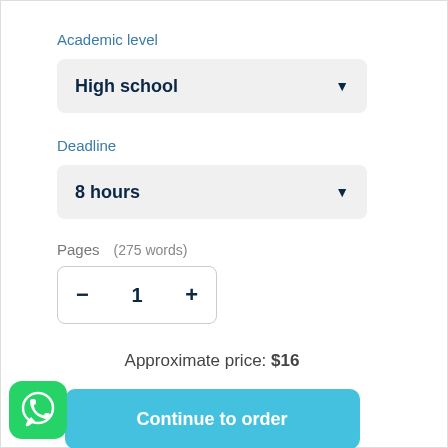Academic level
High school
Deadline
8 hours
Pages   (275 words)
− 1 +
Approximate price: $16
Continue to order
[Figure (logo): WhatsApp green rounded square icon with white phone handset inside speech bubble]